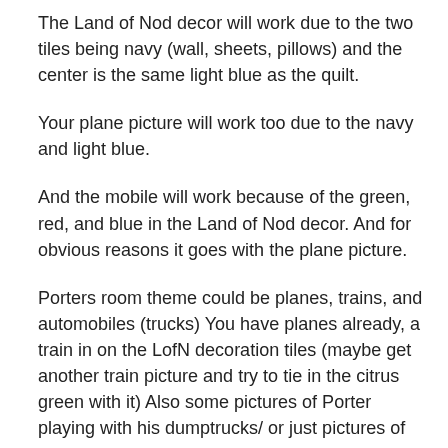The Land of Nod decor will work due to the two tiles being navy (wall, sheets, pillows) and the center is the same light blue as the quilt.
Your plane picture will work too due to the navy and light blue.
And the mobile will work because of the green, red, and blue in the Land of Nod decor. And for obvious reasons it goes with the plane picture.
Porters room theme could be planes, trains, and automobiles (trucks) You have planes already, a train in on the LofN decoration tiles (maybe get another train picture and try to tie in the citrus green with it) Also some pictures of Porter playing with his dumptrucks/ or just pictures of